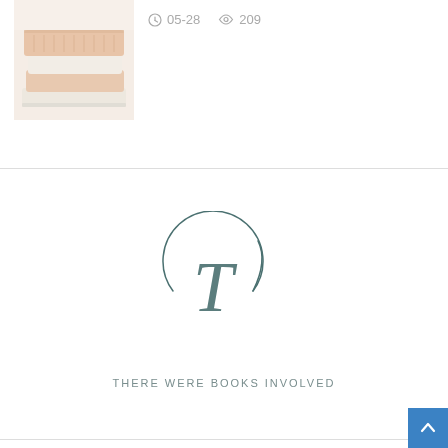[Figure (photo): Stacked soft pastel knitted blankets or sweaters, folded neatly, in peach and cream tones]
05-28  209
[Figure (logo): There Were Books Involved logo: a stylized italic T inside a partial circle arc, with tagline 'There Were Books Involved' below]
TWBI